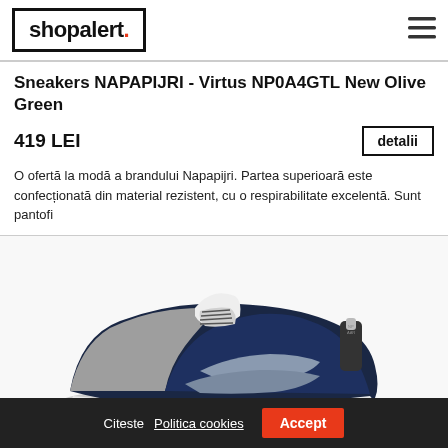shopalert.
Sneakers NAPAPIJRI - Virtus NP0A4GTL New Olive Green
419 LEI
detalii
O ofertă la modă a brandului Napapijri. Partea superioară este confecționată din material rezistent, cu o respirabilitate excelentă. Sunt pantofi
[Figure (photo): Photo of a dark navy/blue sneaker shoe with grey accents and grey/dark laces, shown at an angle on a white background]
Citeste Politica cookies   Accept